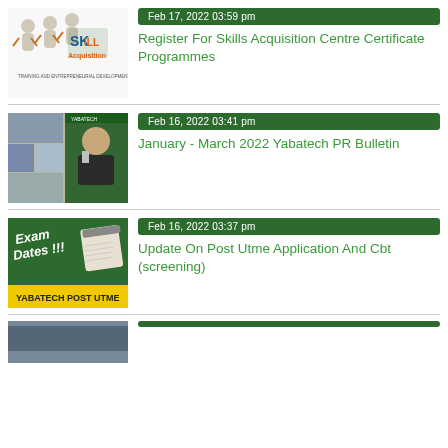[Figure (illustration): Skills Acquisition Training and Entrepreneurial Development illustration with cartoon figures and logo]
Feb 17, 2022 03:59 pm
Register For Skills Acquisition Centre Certificate Programmes
[Figure (photo): January - March 2022 Yabatech PR Bulletin cover with photos and a portrait of a man in a suit]
Feb 16, 2022 03:41 pm
January - March 2022 Yabatech PR Bulletin
[Figure (illustration): Exam Dates image with green chalkboard and YABATECH POST UTME yellow banner]
Feb 16, 2022 03:37 pm
Update On Post Utme Application And Cbt (screening)
[Figure (photo): Partially visible thumbnail at bottom of page]